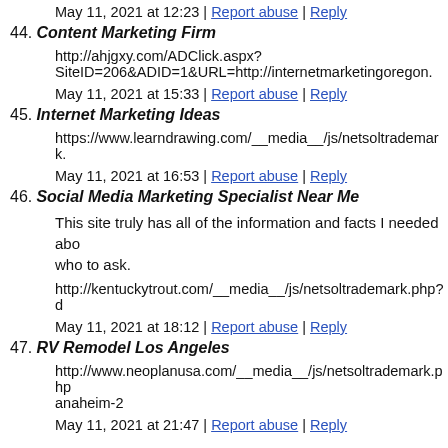May 11, 2021 at 12:23 | Report abuse | Reply
44. Content Marketing Firm
http://ahjgxy.com/ADClick.aspx?SiteID=206&ADID=1&URL=http://internetmarketingoregon.
May 11, 2021 at 15:33 | Report abuse | Reply
45. Internet Marketing Ideas
https://www.learndrawing.com/__media__/js/netsoltrademark.
May 11, 2021 at 16:53 | Report abuse | Reply
46. Social Media Marketing Specialist Near Me
This site truly has all of the information and facts I needed abo who to ask.
http://kentuckytrout.com/__media__/js/netsoltrademark.php?d
May 11, 2021 at 18:12 | Report abuse | Reply
47. RV Remodel Los Angeles
http://www.neoplanusa.com/__media__/js/netsoltrademark.php anaheim-2
May 11, 2021 at 21:47 | Report abuse | Reply